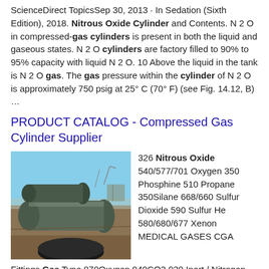ScienceDirect TopicsSep 30, 2013 · In Sedation (Sixth Edition), 2018. Nitrous Oxide Cylinder and Contents. N 2 O in compressed-gas cylinders is present in both the liquid and gaseous states. N 2 O cylinders are factory filled to 90% to 95% capacity with liquid N 2 O. 10 Above the liquid in the tank is N 2 O gas. The gas pressure within the cylinder of N 2 O is approximately 750 psig at 25° C (70° F) (see Fig. 14.12, B) …
PRODUCT CATALOG - Compressed Gas Cylinder Supplier
[Figure (photo): Outdoor photograph of large industrial compressed gas cylinders/tanks lying horizontally on the ground at an industrial site, with machinery and arid landscape in background.]
326 Nitrous Oxide 540/577/701 Oxygen 350 Phosphine 510 Propane 350Silane 668/660 Sulfur Dioxide 590 Sulfur He 580/680/677 Xenon MEDICAL GASES CGA Fittings Gas Type 870Oxygen 940CO2 930 Inert / Nitrogen